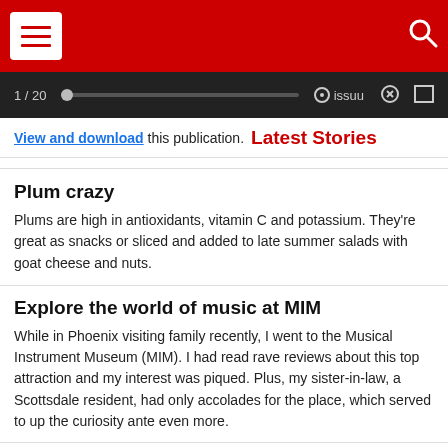Navigation header with hamburger menu and search icon on red background
1 / 20  issuu
View and download this publication. Latest Stories
Plum crazy
Plums are high in antioxidants, vitamin C and potassium. They're great as snacks or sliced and added to late summer salads with goat cheese and nuts.
Explore the world of music at MIM
While in Phoenix visiting family recently, I went to the Musical Instrument Museum (MIM). I had read rave reviews about this top attraction and my interest was piqued. Plus, my sister-in-law, a Scottsdale resident, had only accolades for the place, which served to up the curiosity ante even more.
HOW WARS START?", the elbow, so jabbed the elbow, or "